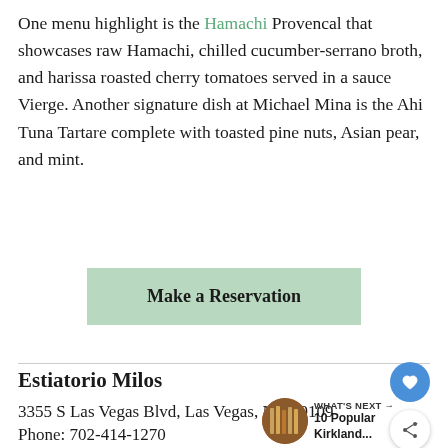One menu highlight is the Hamachi Provencal that showcases raw Hamachi, chilled cucumber-serrano broth, and harissa roasted cherry tomatoes served in a sauce Vierge. Another signature dish at Michael Mina is the Ahi Tuna Tartare complete with toasted pine nuts, Asian pear, and mint.
Make a Reservation
Estiatorio Milos
3355 S Las Vegas Blvd, Las Vegas, NV 89109
Phone: 702-414-1270
Visit Website
WHAT'S NEXT → 10 Popular Kirkland...